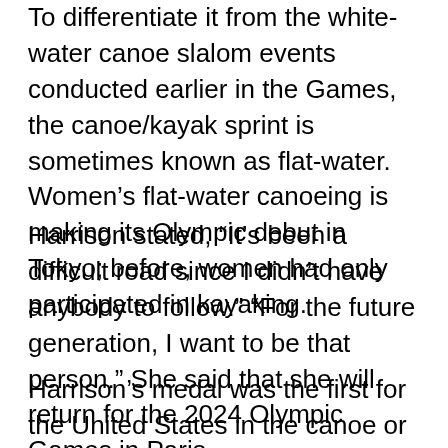To differentiate it from the white-water canoe slalom events conducted earlier in the Games, the canoe/kayak sprint is sometimes known as flat-water. Women's flat-water canoeing is making its Olympic debut in Tokyo; before, women had only participated in kayaking.
Harrison stated, “It’s been a difficult road since I didn’t have anybody to follow.” “For the future generation, I want to be that person.” She said that she will return for the 2024 Olympic Games in Paris.
Harrison’s medal was the first for the United States in the canoe or kayak sprint since Greg Barton won four medals in total at the 1984, 1988, and 1992 Games (one of them